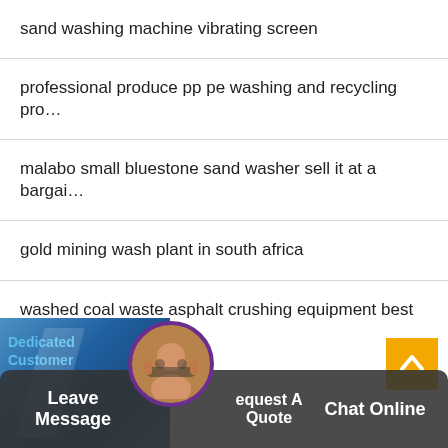sand washing machine vibrating screen
professional produce pp pe washing and recycling pro…
malabo small bluestone sand washer sell it at a bargai…
gold mining wash plant in south africa
washed coal waste asphalt crushing equipment best s…
united states washing machine shops
[Figure (screenshot): Website screenshot showing a list of search result links related to washing machines and mining equipment, with a chat widget at the bottom including Leave Message and Chat Online buttons, and a customer service avatar.]